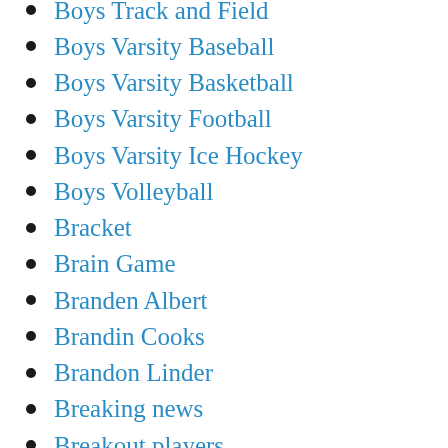Boys Track and Field
Boys Varsity Baseball
Boys Varsity Basketball
Boys Varsity Football
Boys Varsity Ice Hockey
Boys Volleyball
Bracket
Brain Game
Branden Albert
Brandin Cooks
Brandon Linder
Breaking news
Breakout players
Brett Favre
Brian Kelly
BrightCoveFail